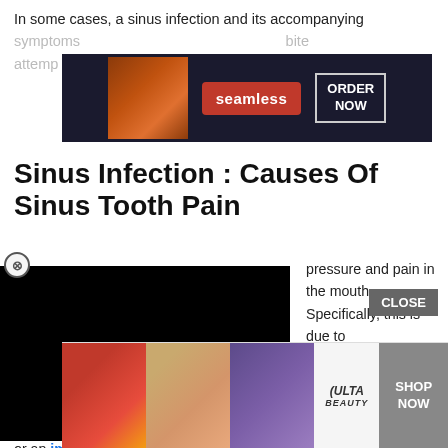In some cases, a sinus infection and its accompanying symptoms [obscured by ad] bite attempt
[Figure (screenshot): Seamless food delivery advertisement banner with pizza image, red 'seamless' button, and 'ORDER NOW' box on dark background]
Sinus Infection : Causes Of Sinus Tooth Pain
[Figure (photo): Black media/video block overlay on left portion of page]
pressure and pain in the mouth Specifically, this is due to llary sinuses located behind the cheekbones. Sinus tooth pain is often confused with other causes of tooth pain, including gum disease , tooth decay , or an impacted wisdom tooth .
[Figure (screenshot): ULTA beauty advertisement banner with cosmetic images and 'SHOP NOW' button]
What